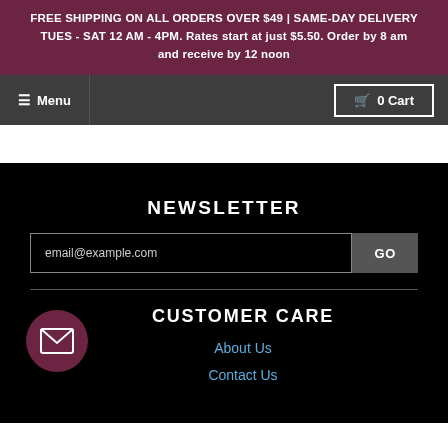FREE SHIPPING ON ALL ORDERS OVER $49 | SAME-DAY DELIVERY TUES - SAT 12 AM - 4PM. Rates start at just $5.50. Order by 8 am and receive by 12 noon
≡ Menu
🛒 0 Cart
NEWSLETTER
email@example.com
GO
CUSTOMER CARE
About Us
Contact Us